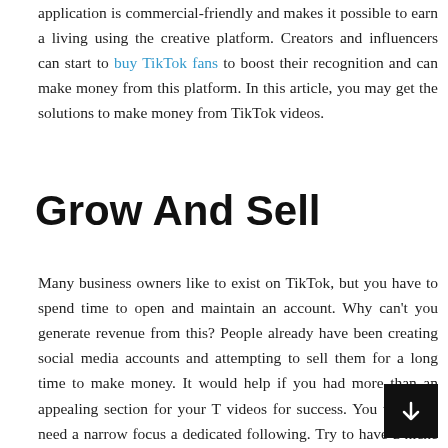application is commercial-friendly and makes it possible to earn a living using the creative platform. Creators and influencers can start to buy TikTok fans to boost their recognition and can make money from this platform. In this article, you may get the solutions to make money from TikTok videos.
Grow And Sell
Many business owners like to exist on TikTok, but you have to spend time to open and maintain an account. Why can't you generate revenue from this? People already have been creating social media accounts and attempting to sell them for a long time to make money. It would help if you had more than an appealing section for your T... videos for success. You will also need a narrow focus... a dedicated following. Try to have a niche account